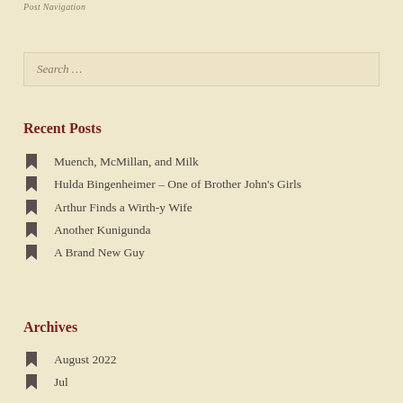Post Navigation
Search ...
Recent Posts
Muench, McMillan, and Milk
Hulda Bingenheimer – One of Brother John's Girls
Arthur Finds a Wirth-y Wife
Another Kunigunda
A Brand New Guy
Archives
August 2022
July